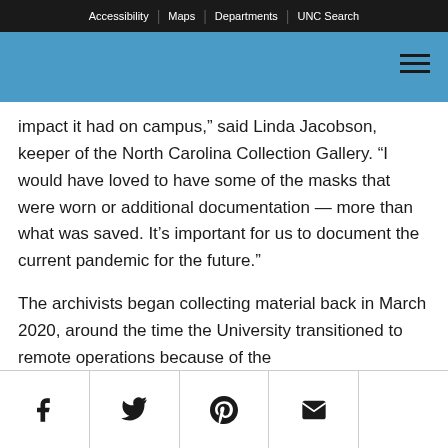Accessibility | Maps | Departments | UNC Search
impact it had on campus,” said Linda Jacobson, keeper of the North Carolina Collection Gallery. “I would have loved to have some of the masks that were worn or additional documentation — more than what was saved. It’s important for us to document the current pandemic for the future.”
The archivists began collecting material back in March 2020, around the time the University transitioned to remote operations because of the
[Figure (infographic): Social sharing bar with Facebook, Twitter, Pinterest, and email icons at the bottom of the page]